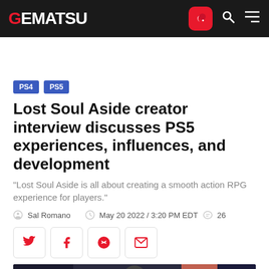GEMATSU
PS4
PS5
Lost Soul Aside creator interview discusses PS5 experiences, influences, and development
"Lost Soul Aside is all about creating a smooth action RPG experience for players."
Sal Romano   May 20 2022 / 3:20 PM EDT   26
[Figure (photo): Photo of a person (presumably related to Lost Soul Aside creator) against a dark background with blurred lights]